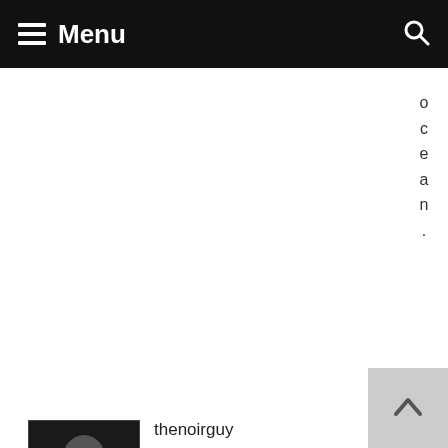Menu
ocean.
thenoirguy
June 18, 2012 at 9:28 pm
Reply
What I hate most about the ending is that we don't see if David's head stops spinning and whether or not Shaw is dreaming. Way to leave it open guys.
stallingsja
June 18, 2012 at 10:46 pm